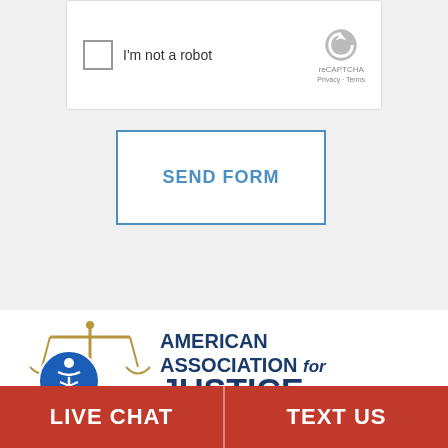[Figure (screenshot): reCAPTCHA widget with checkbox labeled 'I'm not a robot' and reCAPTCHA logo with Privacy and Terms links]
SEND FORM
[Figure (logo): American Association for Justice logo with scales of justice icon and blue accessibility badge]
LIVE CHAT
TEXT US